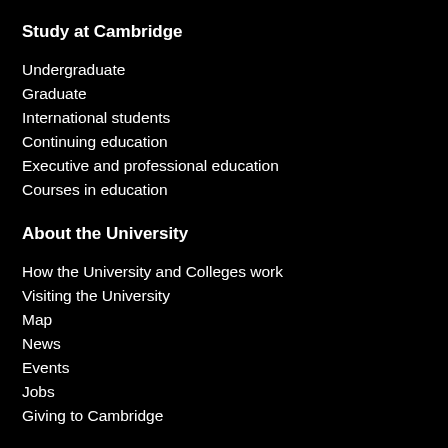Study at Cambridge
Undergraduate
Graduate
International students
Continuing education
Executive and professional education
Courses in education
About the University
How the University and Colleges work
Visiting the University
Map
News
Events
Jobs
Giving to Cambridge
Research at Cambridge